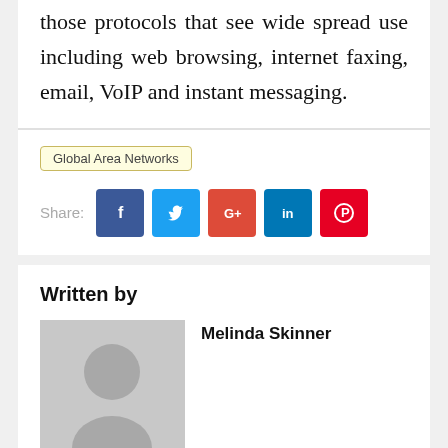those protocols that see wide spread use including web browsing, internet faxing, email, VoIP and instant messaging.
Global Area Networks
Share:
Written by
[Figure (photo): Grey placeholder avatar with silhouette of a person]
Melinda Skinner